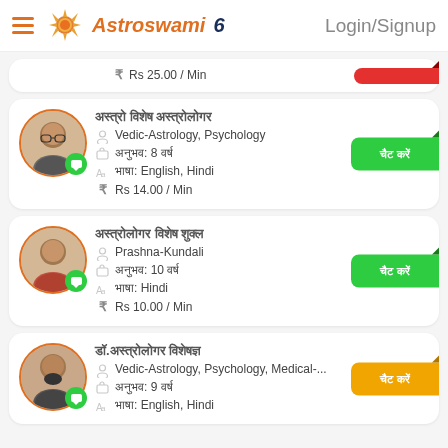Astroswami6 — Login/Signup
Rs 25.00 / Min
Vedic-Astrology, Psychology | अनुभव: 8 वर्ष | भाषा: English, Hindi | Rs 14.00 / Min | चैट करें
Prashna-Kundali | अनुभव: 10 वर्ष | भाषा: Hindi | Rs 10.00 / Min | चैट करें
Vedic-Astrology, Psychology, Medical-... | अनुभव: 9 वर्ष | भाषा: English, Hindi | चैट करें